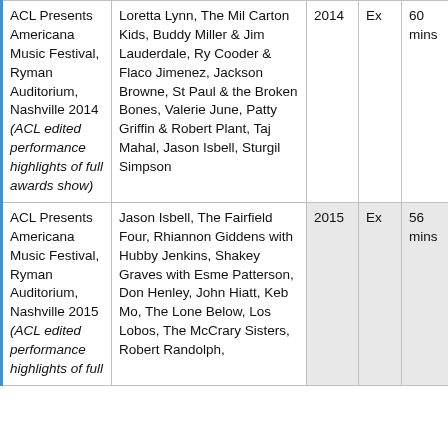| Program Title | Performers/Content | Year | Rating | Duration |
| --- | --- | --- | --- | --- |
| ACL Presents Americana Music Festival, Ryman Auditorium, Nashville 2014 (ACL edited performance highlights of full awards show) | Loretta Lynn, The Mil Carton Kids, Buddy Miller & Jim Lauderdale, Ry Cooder & Flaco Jimenez, Jackson Browne, St Paul & the Broken Bones, Valerie June, Patty Griffin & Robert Plant, Taj Mahal, Jason Isbell, Sturgil Simpson | 2014 | Ex | 60 mins |
| ACL Presents Americana Music Festival, Ryman Auditorium, Nashville 2015 (ACL edited performance highlights of full | Jason Isbell, The Fairfield Four, Rhiannon Giddens with Hubby Jenkins, Shakey Graves with Esme Patterson, Don Henley, John Hiatt, Keb Mo, The Lone Below, Los Lobos, The McCrary Sisters, Robert Randolph, Rikin Caramello B... | 2015 | Ex | 56 mins |